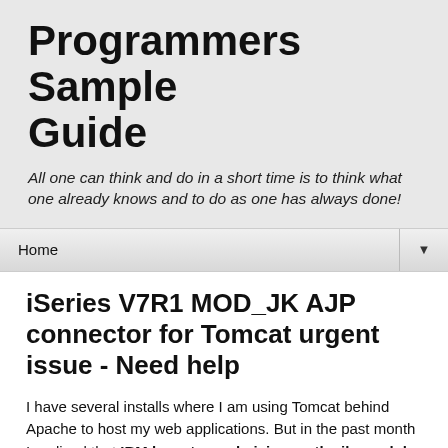Programmers Sample Guide
All one can think and do in a short time is to think what one already knows and to do as one has always done!
Home ▼
iSeries V7R1 MOD_JK AJP connector for Tomcat urgent issue - Need help
I have several installs where I am using Tomcat behind Apache to host my web applications. But in the past month I realized that IBM has stopped giving us the jk_module as a part of the install. Their reason is that they no longer support Tomcat but I don't understand why take away the bi...